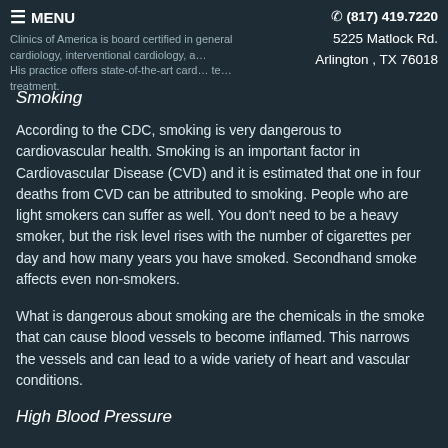≡ MENU   ☎ (817) 419.7220  5225 Matlock Rd. Arlington , TX 76018
Clinics of America is board certified in general cardiology, interventional cardiology, and... His practice offers state-of-the-art cardiac testing and treatment.
Smoking
According to the CDC, smoking is very dangerous to cardiovascular health. Smoking is an important factor in Cardiovascular Disease (CVD) and it is estimated that one in four deaths from CVD can be attributed to smoking. People who are light smokers can suffer as well. You don't need to be a heavy smoker, but the risk level rises with the number of cigarettes per day and how many years you have smoked. Secondhand smoke affects even non-smokers.
What is dangerous about smoking are the chemicals in the smoke that can cause blood vessels to become inflamed. This narrows the vessels and can lead to a wide variety of heart and vascular conditions.
High Blood Pressure